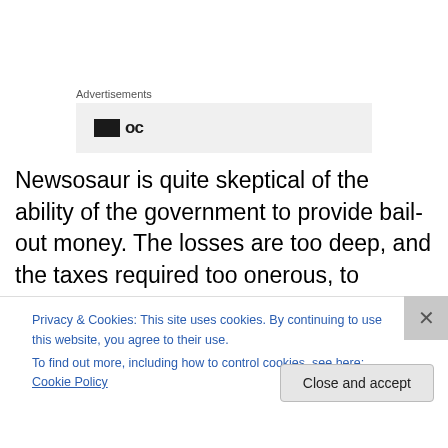Advertisements
[Figure (other): Advertisement placeholder box with small black icon and partial text]
Newsosaur is quite skeptical of the ability of the government to provide bail-out money. The losses are too deep, and the taxes required too onerous, to provide a complete Pravda model. While it's certain bailouts will be proposed, the ability to push them through in hard
Privacy & Cookies: This site uses cookies. By continuing to use this website, you agree to their use.
To find out more, including how to control cookies, see here: Cookie Policy
Close and accept